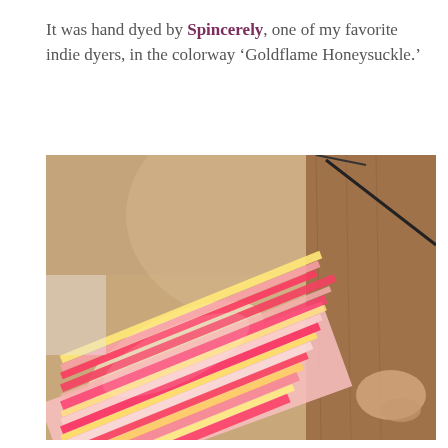It was hand dyed by Spincerely, one of my favorite indie dyers, in the colorway ‘Goldflame Honeysuckle.’
[Figure (photo): A close-up photograph of colorful hand-spun yarn wound on a spinning wheel bobbin. The yarn features vibrant stripes of pink, yellow, and white colors. The background shows wooden parts of the spinning wheel and a person's hands.]